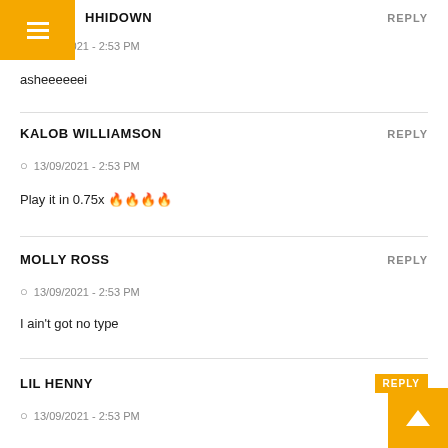HHIDOWN
13/09/2021 - 2:53 PM
asheeeeeei
KALOB WILLIAMSON
13/09/2021 - 2:53 PM
Play it in 0.75x 🔥🔥🔥🔥
MOLLY ROSS
13/09/2021 - 2:53 PM
I ain't got no type
LIL HENNY
13/09/2021 - 2:53 PM